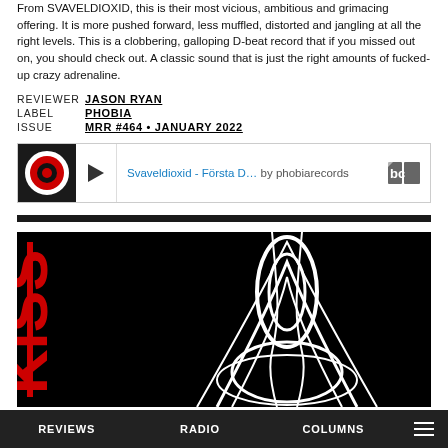From SVAVELDIOXID, this is their most vicious, ambitious and grimacing offering. It is more pushed forward, less muffled, distorted and jangling at all the right levels. This is a clobbering, galloping D-beat record that if you missed out on, you should check out. A classic sound that is just the right amounts of fucked-up crazy adrenaline.
REVIEWER JASON RYAN
LABEL PHOBIA
ISSUE MRR #464 • JANUARY 2022
[Figure (screenshot): Bandcamp embedded player: Svaveldioxid - Första D... by phobiarecords, with play button and Bandcamp logo]
[Figure (photo): Album cover image on black background with red text 'KiSS' on the left side and a black and white abstract figure/swirl design]
REVIEWS   RADIO   COLUMNS   ☰